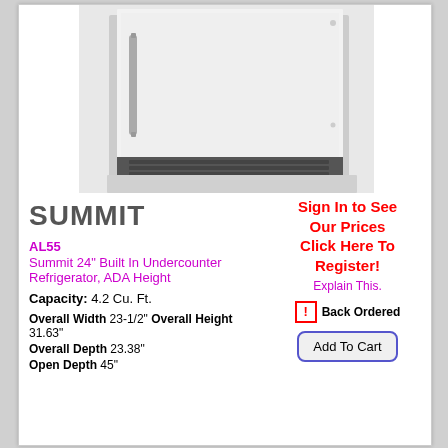[Figure (photo): Photo of a Summit 24 inch built-in undercounter refrigerator with stainless steel door and black base grille]
[Figure (logo): Summit brand logo text in bold dark gray uppercase letters]
AL55
Summit 24" Built In Undercounter Refrigerator, ADA Height
Capacity: 4.2 Cu. Ft.
Overall Width 23-1/2" Overall Height 31.63"
Overall Depth 23.38"
Open Depth 45"
Sign In to See Our Prices Click Here To Register!
Explain This.
Back Ordered
Add To Cart